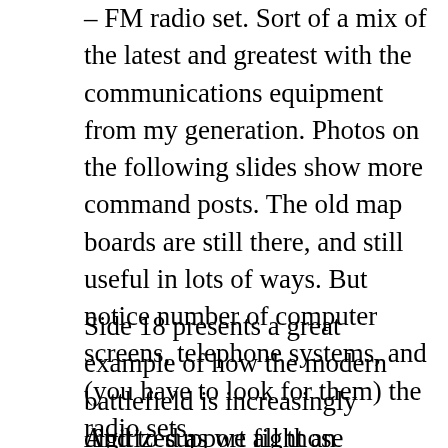– FM radio set.  Sort of a mix of the latest and greatest with the communications equipment from my generation.  Photos on the following slides show more command posts.  The old map boards are still there, and still useful in lots of ways.  But notice number of computer screens, telephone systems, and (you have to look for them) the radio sets.
Side 18 presents a great example of how the modern battlefield is increasingly digitized as we fight an information-centric war.  Biometric data collection.  Twenty-five years ago, we could not even anticipate this need.  Today it is a requirement.
And to support all those computers in the CPs